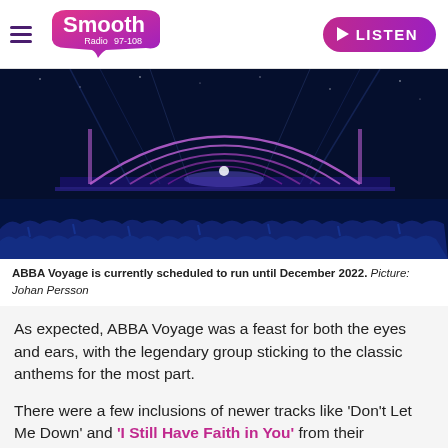Smooth Radio 97-108 | LISTEN
[Figure (photo): Concert stage photo of ABBA Voyage show with arched neon lights and large crowd in blue lighting]
ABBA Voyage is currently scheduled to run until December 2022. Picture: Johan Persson
As expected, ABBA Voyage was a feast for both the eyes and ears, with the legendary group sticking to the classic anthems for the most part.
There were a few inclusions of newer tracks like 'Don't Let Me Down' and 'I Still Have Faith in You' from their comeback album Voyage which was released in November 2021.